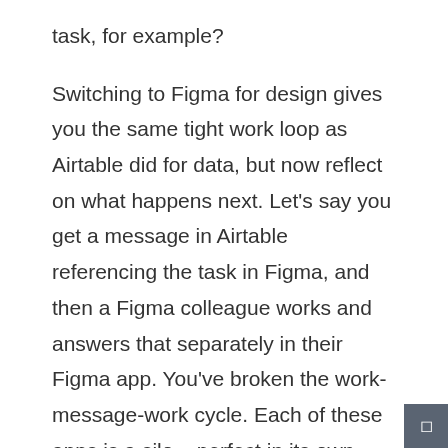task, for example?
Switching to Figma for design gives you the same tight work loop as Airtable did for data, but now reflect on what happens next. Let's say you get a message in Airtable referencing the task in Figma, and then a Figma colleague works and answers that separately in their Figma app. You've broken the work-message-work cycle. Each of these apps is a silo – perfect in its own way with its in-build messaging, but creating a sea of separation in between the inter-app collaborative parts. The result is a loss of context and a significant drop in